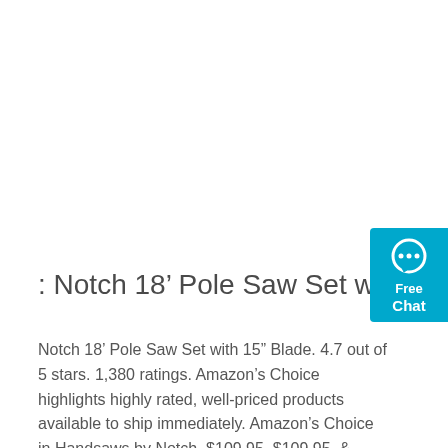: Notch 18’ Pole Saw Set with 15” Blade : Tools …
Notch 18’ Pole Saw Set with 15” Blade. 4.7 out of 5 stars. 1,380 ratings. Amazon’s Choice highlights highly rated, well-priced products available to ship immediately. Amazon’s Choice in Handsaws by Notch. $109.95. $109.95. & FREE Returns. Return this item for free.
[Figure (other): Free Chat widget button in teal/cyan color with speech bubble icon]
Get Price